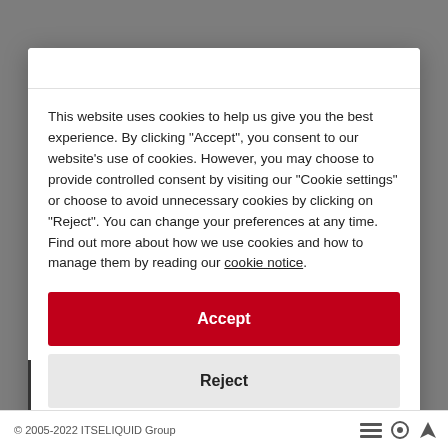This website uses cookies to help us give you the best experience. By clicking "Accept", you consent to our website's use of cookies. However, you may choose to provide controlled consent by visiting our "Cookie settings" or choose to avoid unnecessary cookies by clicking on "Reject". You can change your preferences at any time. Find out more about how we use cookies and how to manage them by reading our cookie notice.
Accept
Reject
Cookie settings
© 2005-2022 ITSELIQUID Group